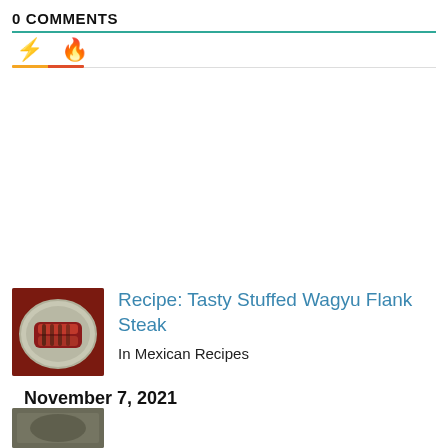0 COMMENTS
[Figure (other): Two icon tabs: lightning bolt (yellow) and flame (orange-red), with colored underline indicating active/selected tabs]
[Figure (photo): Photo of stuffed wagyu flank steak slices on a decorative plate]
Recipe: Tasty Stuffed Wagyu Flank Steak
In Mexican Recipes
November 7, 2021
[Figure (photo): Partial thumbnail of another article at bottom of page]